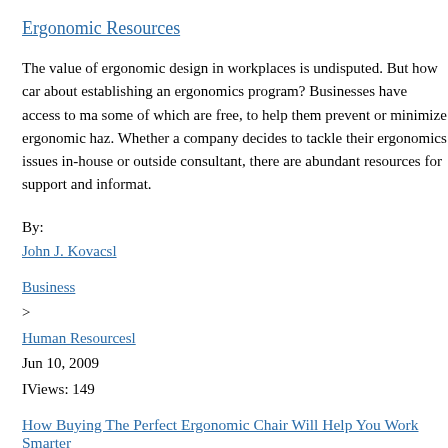Ergonomic Resources
The value of ergonomic design in workplaces is undisputed. But how can about establishing an ergonomics program? Businesses have access to ma some of which are free, to help them prevent or minimize ergonomic haz. Whether a company decides to tackle their ergonomics issues in-house or outside consultant, there are abundant resources for support and informat.
By:
John J. Kovacsl
Business>
Human Resourcesl
Jun 10, 2009
IViews: 149
How Buying The Perfect Ergonomic Chair Will Help You Work Smarter
For months on end my assistant sat in a typical swivel office chair. It had but after long periods of time she complained that her sitting bones would